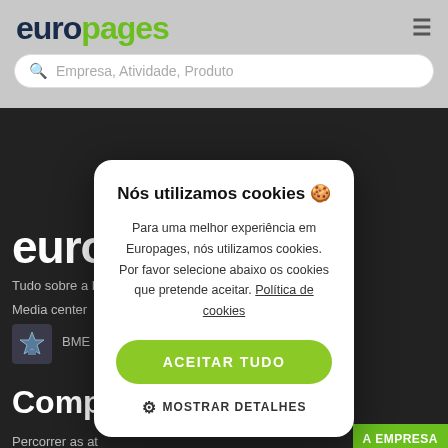europages
Empresa, Atividade, Produto
euro
Tudo sobre a E
Media center
BME
Compra
Percorrer as at
A EMPRESA
A Europages em resumo
Página da empresa
[Figure (screenshot): Cookie consent modal dialog with title 'Nós utilizamos cookies 🍪', body text about cookies, 'ACEITAR TUDO' green button, and 'MOSTRAR DETALHES' option with gear icon]
Blog  LinkedIn  Facebook  Twitter  YouTube
Ajuda e suporte  Condições gerais de utilização  Política de confidencialidade